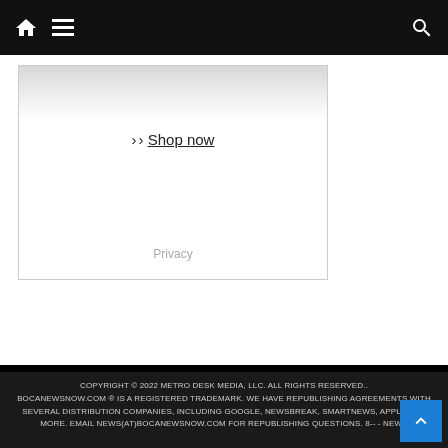Navigation bar with home icon, menu icon, and search icon
[Figure (other): Partial advertisement box showing a 'Shop now' link and Privacy text at the bottom]
COPYRIGHT © 2022 METRO DESK MEDIA, LLC. ALL RIGHTS RESERVED.. BOCANEWSNOW.COM ® IS A REGISTERED TRADEMARK. WE HAVE REPUBLISHING AGREEMENTS WITH SEVERAL DISTRIBUTION COMPANIES, INCLUDING GOOGLE, NEWSBREAK, SMARTNEWS, APPLE AND MORE. EMAIL NEWS(AT)BOCANEWSNOW.COM FOR REPUBLISHING QUESTIONS. 8-- - NEWS